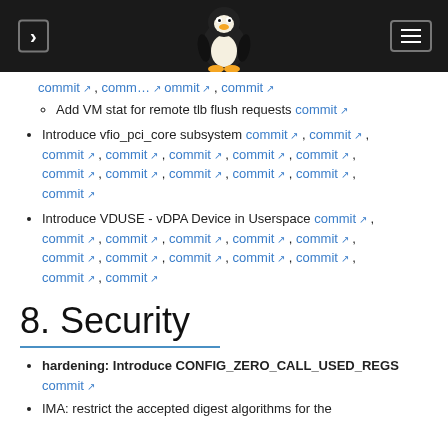Linux kernel changelog navigation header with Tux logo
commit, commit, commit, commit (sub-bullet: Add VM stat for remote tlb flush requests commit)
Introduce vfio_pci_core subsystem commit, commit, commit, commit, commit, commit, commit, commit, commit, commit, commit, commit, commit, commit, commit, commit
Introduce VDUSE - vDPA Device in Userspace commit, commit, commit, commit, commit, commit, commit, commit, commit, commit, commit, commit, commit, commit
8. Security
hardening: Introduce CONFIG_ZERO_CALL_USED_REGS commit
IMA: restrict the accepted digest algorithms for the